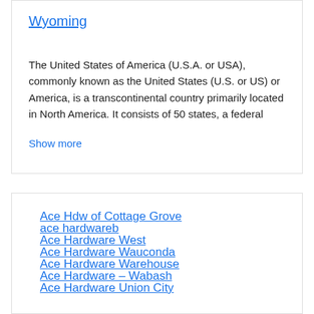Wyoming
The United States of America (U.S.A. or USA), commonly known as the United States (U.S. or US) or America, is a transcontinental country primarily located in North America. It consists of 50 states, a federal
Show more
Ace Hdw of Cottage Grove
ace hardwareb
Ace Hardware West
Ace Hardware Wauconda
Ace Hardware Warehouse
Ace Hardware – Wabash
Ace Hardware Union City